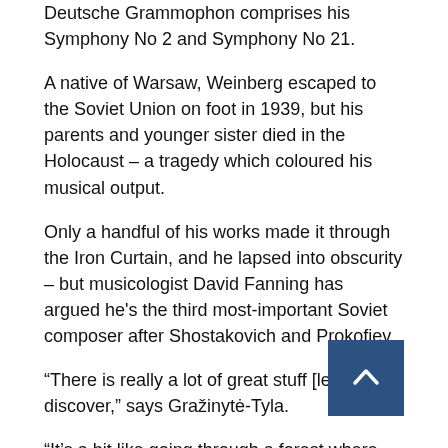Deutsche Grammophon comprises his Symphony No 2 and Symphony No 21.
A native of Warsaw, Weinberg escaped to the Soviet Union on foot in 1939, but his parents and younger sister died in the Holocaust – a tragedy which coloured his musical output.
Only a handful of his works made it through the Iron Curtain, and he lapsed into obscurity – but musicologist David Fanning has argued he's the third most-important Soviet composer after Shostakovich and Prokofiev.
“There is really a lot of great stuff [left] to discover,” says Gražinytė-Tyla.
“It’s a bit like going through a forest where there is not really a path, and making your own path.”
Image copyright
Frans Jansen